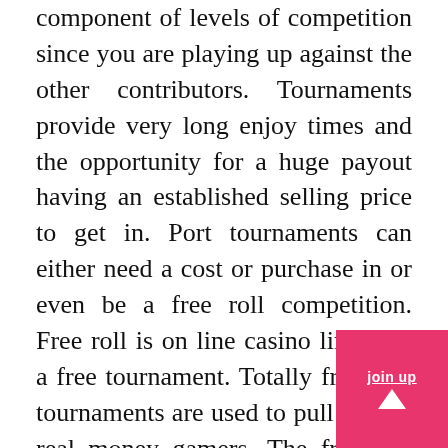component of levels of competition since you are playing up against the other contributors. Tournaments provide very long enjoy times and the opportunity for a huge payout having an established selling price to get in. Port tournaments can either need a cost or purchase in or even be a free roll competition. Free roll is on line casino lingo for a free tournament. Totally free port tournaments are used to pull in new real money gamers. The free slot tournaments normally demand individuals to join up at an on the web on line casino. Close to holidays you